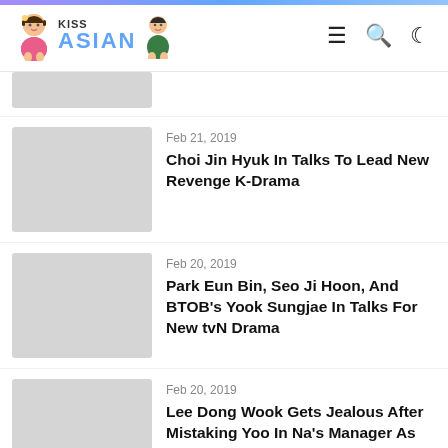KissAsian
Feb 21, 2019
Choi Jin Hyuk In Talks To Lead New Revenge K-Drama
Feb 20, 2019
Park Eun Bin, Seo Ji Hoon, And BTOB’s Yook Sungjae In Talks For New tvN Drama
Feb 20, 2019
Lee Dong Wook Gets Jealous After Mistaking Yoo In Na’s Manager As Her Boyfriend In